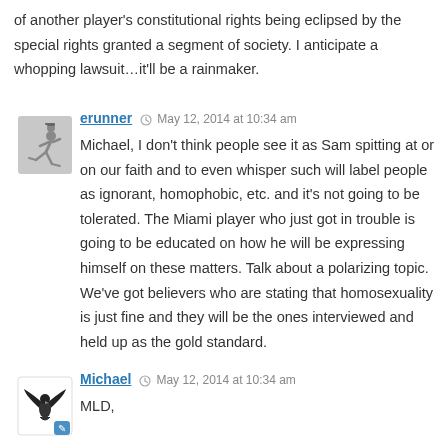of another player's constitutional rights being eclipsed by the special rights granted a segment of society. I anticipate a whopping lawsuit…it'll be a rainmaker.
erunner  May 12, 2014 at 10:34 am
Michael, I don't think people see it as Sam spitting at or on our faith and to even whisper such will label people as ignorant, homophobic, etc. and it's not going to be tolerated. The Miami player who just got in trouble is going to be educated on how he will be expressing himself on these matters. Talk about a polarizing topic. We've got believers who are stating that homosexuality is just fine and they will be the ones interviewed and held up as the gold standard.
Michael  May 12, 2014 at 10:34 am
MLD,

Let me leave no doubt that I believe God is at work through all of this because…